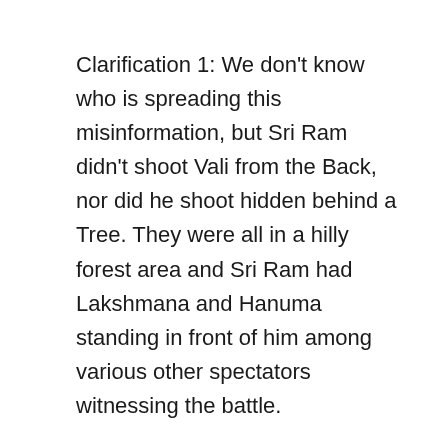Clarification 1: We don't know who is spreading this misinformation, but Sri Ram didn't shoot Vali from the Back, nor did he shoot hidden behind a Tree. They were all in a hilly forest area and Sri Ram had Lakshmana and Hanuma standing in front of him among various other spectators witnessing the battle.
Clarification 2: Vali knew that both Sri Ram and Lakshmana were in the forest, in the company of Sugriva. Tara (Vali's wife) warned Vali about Sugriva's sudden confidence in battle and the possibility of Sri Ram confronting Vali in battle. Vali was aware of the sons of Dasharada, their integrity, valor, and fame, so was confident that